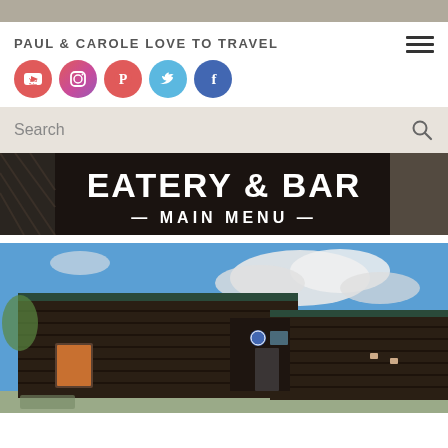PAUL & CAROLE LOVE TO TRAVEL
[Figure (illustration): Social media icons row: YouTube (red), Instagram (pink/purple gradient), Pinterest (red), Twitter (blue), Facebook (blue)]
[Figure (screenshot): Search bar with 'Search' placeholder text and magnifying glass icon]
[Figure (photo): Close-up of a dark restaurant sign reading 'EATERY & BAR — MAIN MENU —' in white text]
[Figure (photo): Exterior of a dark wooden clad building (eatery/bar) against a blue sky with clouds]